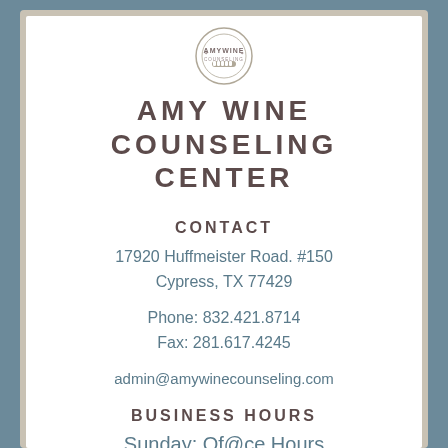[Figure (logo): Amy Wine Counseling circular logo with text AMYWINE COUNSELING]
AMY WINE COUNSELING CENTER
CONTACT
17920 Huffmeister Road. #150
Cypress, TX 77429
Phone: 832.421.8714
Fax: 281.617.4245
admin@amywinecounseling.com
BUSINESS HOURS
Sunday: Office Hours